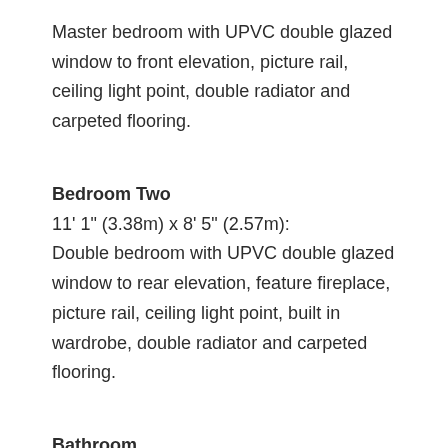Master bedroom with UPVC double glazed window to front elevation, picture rail, ceiling light point, double radiator and carpeted flooring.
Bedroom Two
11' 1" (3.38m) x 8' 5" (2.57m):
Double bedroom with UPVC double glazed window to rear elevation, feature fireplace, picture rail, ceiling light point, built in wardrobe, double radiator and carpeted flooring.
Bathroom
9' 8" (2.95m) x 8' 2" (2.49m):
Fitted bathroom with roll top freestanding bath